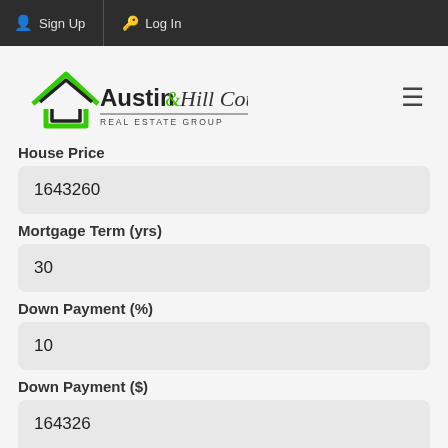Sign Up  Log In
[Figure (logo): Austin & Hill Country Real Estate Group logo — green house outline with black bold 'Austin' text, ampersand and 'Hill Country' in script, 'REAL ESTATE GROUP' below in small caps]
House Price
1643260
Mortgage Term (yrs)
30
Down Payment (%)
10
Down Payment ($)
164326